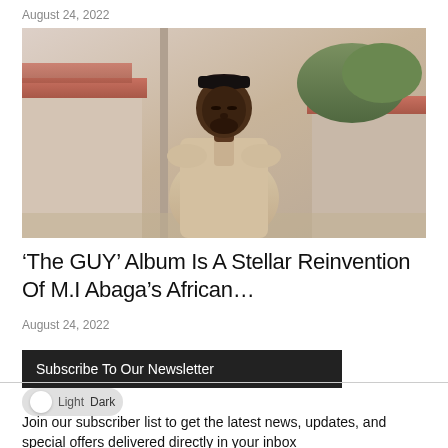August 24, 2022
[Figure (photo): Portrait of M.I Abaga, a Nigerian rapper, standing outdoors wearing a light beige kaftan and a black kufi cap, with buildings and greenery in the background.]
‘The GUY’ Album Is A Stellar Reinvention Of M.I Abaga’s African…
August 24, 2022
Subscribe To Our Newsletter
Join our subscriber list to get the latest news, updates, and special offers delivered directly in your inbox